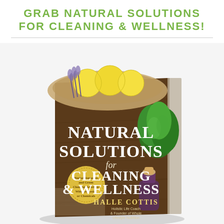GRAB NATURAL SOLUTIONS FOR CLEANING & WELLNESS!
[Figure (photo): 3D rendered book cover for 'Natural Solutions for Cleaning & Wellness' by Halle Cottis. The cover shows a dark wood background with lemons, lavender, mint herbs, and a glass bottle with a cork. The book title and author name appear on the cover. A yellow circular badge reads 'Herbal Remedies and Green Cleaning Solutions Without Toxins or Chemicals'.]